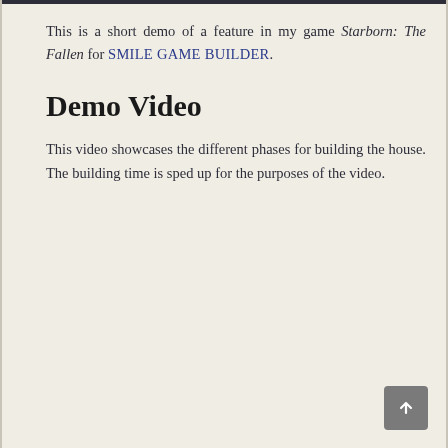This is a short demo of a feature in my game Starborn: The Fallen for SMILE GAME BUILDER.
Demo Video
This video showcases the different phases for building the house. The building time is sped up for the purposes of the video.